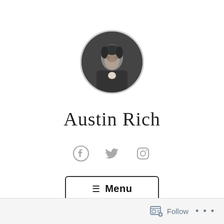[Figure (photo): Circular profile photo of a person in costume, dark tones, center of page]
Austin Rich
[Figure (infographic): Social media icons: Facebook, Twitter, Instagram in gray]
[Figure (other): Menu button with hamburger icon and text 'Menu', rounded rectangle border]
Follow ...